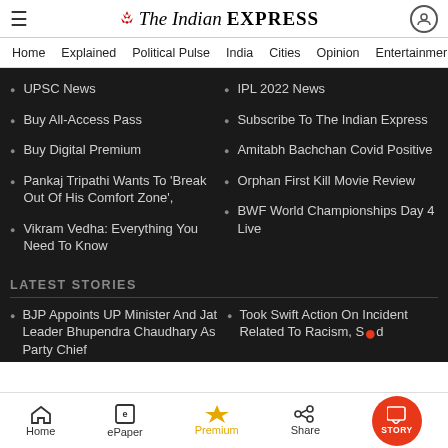The Indian Express
Home | Explained | Political Pulse | India | Cities | Opinion | Entertainment
UPSC News
IPL 2022 News
Buy All-Access Pass
Subscribe To The Indian Express
Buy Digital Premium
Amitabh Bachchan Covid Positive
Pankaj Tripathi Wants To 'Break Out Of His Comfort Zone',
Orphan First Kill Movie Review
Vikram Vedha: Everything You Need To Know
BWF World Championships Day 4 Live
LATEST STORIES
BJP Appoints UP Minister And Jat Leader Bhupendra Chaudhary As Party Chief
Took Swift Action On Incident Related To Racism, Said...